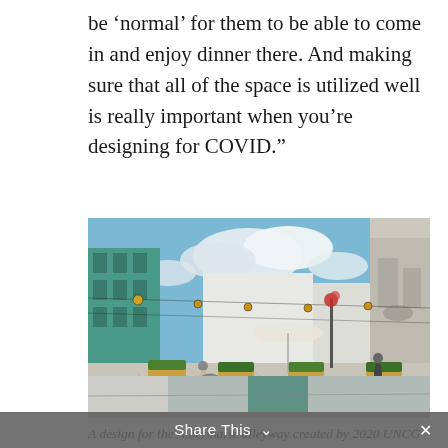be ‘normal’ for them to be able to come in and enjoy dinner there. And making sure that all of the space is utilized well is really important when you’re designing for COVID.”
[Figure (photo): A rendering of the Albermarle alleyway design showing an outdoor pedestrian space with string lights, planter boxes with greenery, wooden seating, people walking and cycling, a teal-colored building on the left, and a black-and-white historical mural on the right wall.]
A design for the Albermarle alleyway created by 2020 UNCG graduate in interior architecture Bianca Jenkins
[Figure (photo): Partial view of another photograph at the bottom of the page, partially obscured by the Share This bar.]
Share This ✕